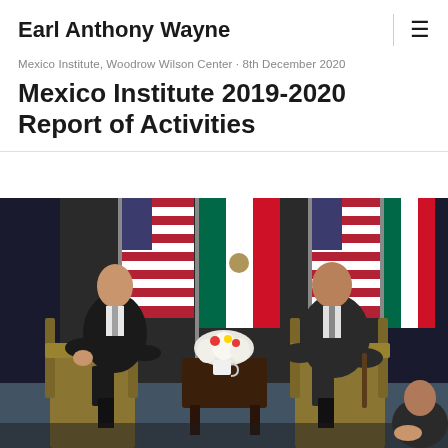Earl Anthony Wayne
Mexico Institute, Woodrow Wilson Center · 8th December 2020
Mexico Institute 2019-2020 Report of Activities
[Figure (photo): Two men in business suits seated in gold chairs in front of US and Mexican flags with a flower arrangement on a table between them, appearing to be in a formal diplomatic meeting setting.]